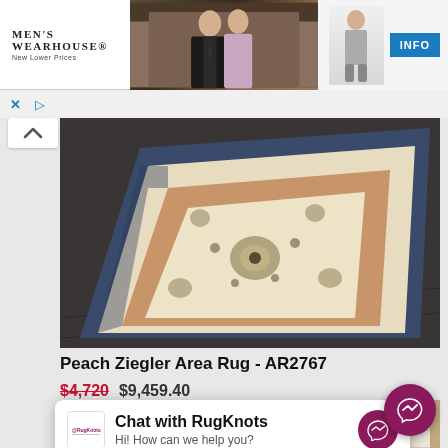[Figure (screenshot): Men's Wearhouse advertisement banner with couple in formal wear and child in suit, with INFO button]
[Figure (photo): Peach Ziegler Area Rug product photo showing ornate cream and peach Persian-style rug with floral patterns and navy border]
Peach Ziegler Area Rug - AR2767
$4,720  $9,459.40
Chat with RugKnots
Hi! How can we help you?
[Figure (screenshot): Bottom product image showing modern living room with brown egg chair, SALE badge in red]